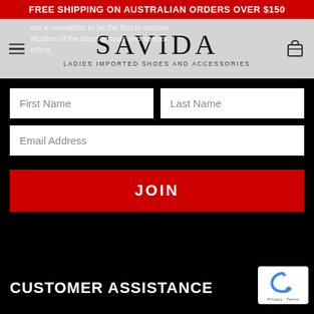FREE SHIPPING ON AUSTRALIAN ORDERS OVER $150
[Figure (logo): Savida logo with tagline LADIES IMPORTED SHOES AND ACCESSORIES on a light grey header background with hamburger menu icon, overlay newsletter signup text, and shopping cart icon]
our e-newsletter to be the first to receive notification of the latest arrivals and special offers.
First Name
Last Name
Email Address
JOIN
CUSTOMER ASSISTANCE
[Figure (other): reCAPTCHA badge with circular arrow icon and Privacy - Terms text]